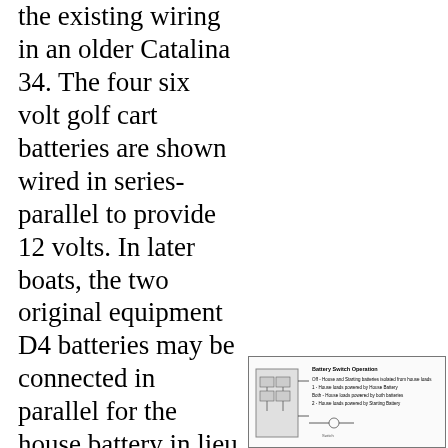the existing wiring in an older Catalina 34. The four six volt golf cart batteries are shown wired in series-parallel to provide 12 volts. In later boats, the two original equipment D4 batteries may be connected in parallel for the house battery in lieu of the four golf cart batteries shown. Fuses are shown in the battery and
[Figure (schematic): Battery Switch Operation diagram showing a schematic of battery switch wiring with labels for Off, House and Starting batteries isolated from house loads; and other switch positions. Includes a small box/legend area on the left.]